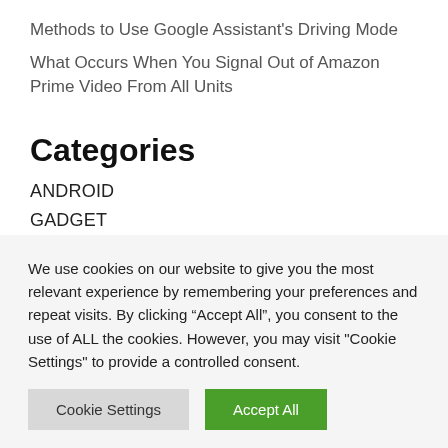Methods to Use Google Assistant's Driving Mode
What Occurs When You Signal Out of Amazon Prime Video From All Units
Categories
ANDROID
GADGET
INTERNET
IOS
We use cookies on our website to give you the most relevant experience by remembering your preferences and repeat visits. By clicking “Accept All”, you consent to the use of ALL the cookies. However, you may visit "Cookie Settings" to provide a controlled consent.
Cookie Settings | Accept All